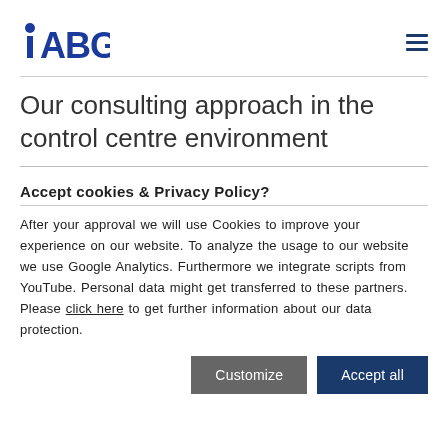iABG [logo] [hamburger menu]
Our consulting approach in the control centre environment
Accept cookies & Privacy Policy?
After your approval we will use Cookies to improve your experience on our website. To analyze the usage to our website we use Google Analytics. Furthermore we integrate scripts from YouTube. Personal data might get transferred to these partners. Please click here to get further information about our data protection.
Customize | Accept all